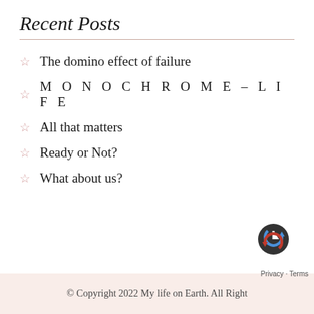Recent Posts
The domino effect of failure
MONOCHROME – LIFE
All that matters
Ready or Not?
What about us?
© Copyright 2022 My life on Earth. All Right